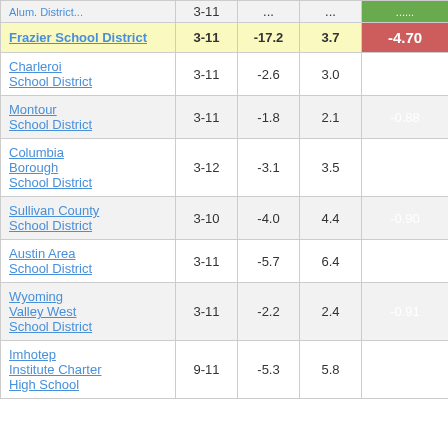| School District | Grades | Col3 | Col4 | Score |
| --- | --- | --- | --- | --- |
| (partial top row) | 3-11 | ... | ... | ... |
| Frazier School District | 3-11 | -17.2 | 3.7 | -4.70 |
| Charleroi School District | 3-11 | -2.6 | 3.0 | -0.86 |
| Montour School District | 3-11 | -1.8 | 2.1 | -0.88 |
| Columbia Borough School District | 3-12 | -3.1 | 3.5 | -0.89 |
| Sullivan County School District | 3-10 | -4.0 | 4.4 | -0.90 |
| Austin Area School District | 3-11 | -5.7 | 6.4 | -0.90 |
| Wyoming Valley West School District | 3-11 | -2.2 | 2.4 | -0.91 |
| Imhotep Institute Charter High School | 9-11 | -5.3 | 5.8 | -0.92 |